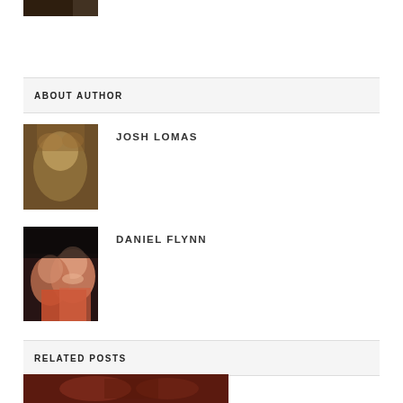[Figure (photo): Small thumbnail image at top left, dark/brown tones]
ABOUT AUTHOR
[Figure (photo): Author photo of Josh Lomas — a brown fluffy animal (possibly alpaca/llama) up close]
JOSH LOMAS
[Figure (photo): Author photo of Daniel Flynn — two people smiling, one in an orange shirt]
DANIEL FLYNN
RELATED POSTS
[Figure (photo): Related post thumbnail image at bottom, dark reddish-brown tones, partially visible]